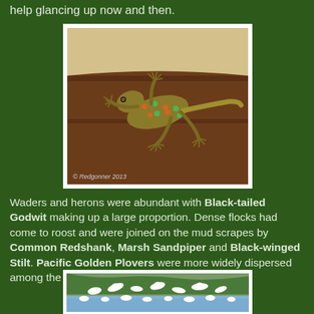help glancing up now and then.
[Figure (photo): A gecko (tokay gecko) clinging to a dark wooden surface, with colorful orange and teal spots visible on its body. Photo credit: © Redgonner 2013]
Waders and herons were abundant with Black-tailed Godwit making up a large proportion. Dense flocks had come to roost and were joined on the mud scrapes by Common Redshank, Marsh Sandpiper and Black-winged Stilt. Pacific Golden Plovers were more widely dispersed among the salt grass.
[Figure (photo): A flock of white birds (herons/egrets) at a wetland or mudflat, with some in flight and some standing in shallow water, with green vegetation in the background.]